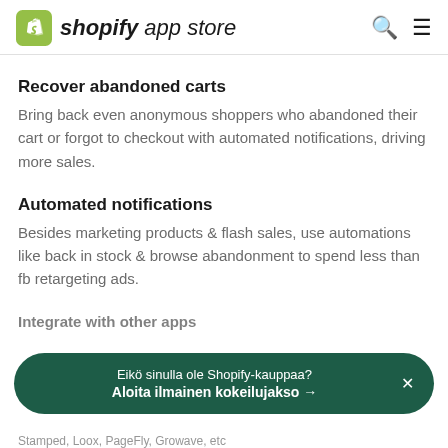shopify app store
Recover abandoned carts
Bring back even anonymous shoppers who abandoned their cart or forgot to checkout with automated notifications, driving more sales.
Automated notifications
Besides marketing products & flash sales, use automations like back in stock & browse abandonment to spend less than fb retargeting ads.
Integrate with other apps
Stamped, Loox, PageFly, Growave, etc
Eikö sinulla ole Shopify-kauppaa?
Aloita ilmainen kokeilujakso →